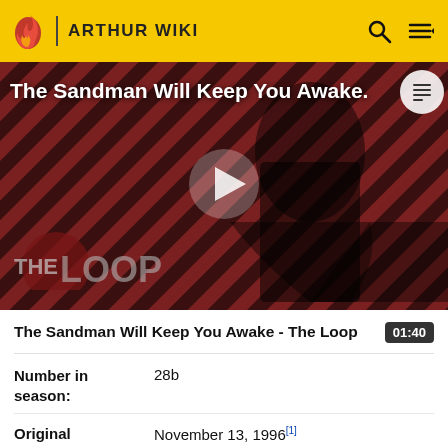ARTHUR WIKI
[Figure (screenshot): Video thumbnail for 'The Sandman Will Keep You Awake - The Loop' showing a dark figure in a black cape against a red striped background, with 'THE LOOP' logo at bottom left and a play button in the center.]
The Sandman Will Keep You Awake - The Loop
01:40
| Number in season: | 28b |
| Original | November 13, 1996[1] |